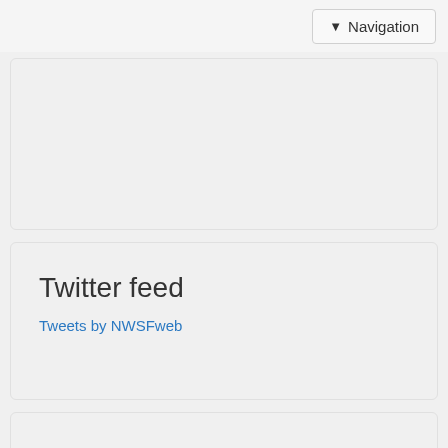Navigation
[Figure (screenshot): Empty light gray card panel at top]
Twitter feed
Tweets by NWSFweb
[Figure (screenshot): Empty light gray card panel at bottom]